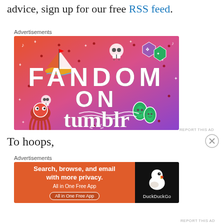advice, sign up for our free RSS feed.
Advertisements
[Figure (illustration): Fandom on Tumblr advertisement banner with colorful orange-to-purple gradient background, doodle illustrations of a sailboat, skull, dice, octopus, leaf characters, and large bold text reading FANDOM ON tumblr]
REPORT THIS AD
To hoops,
Advertisements
[Figure (illustration): DuckDuckGo advertisement: orange left panel with text 'Search, browse, and email with more privacy. All in One Free App' and black right panel with DuckDuckGo duck logo and brand name]